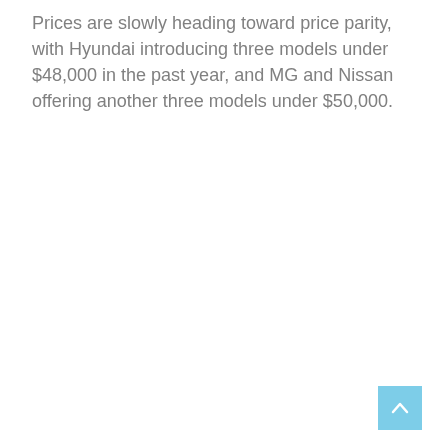Prices are slowly heading toward price parity, with Hyundai introducing three models under $48,000 in the past year, and MG and Nissan offering another three models under $50,000.
[Figure (other): A light blue square button with a white upward-pointing chevron arrow, used as a scroll-to-top navigation control.]